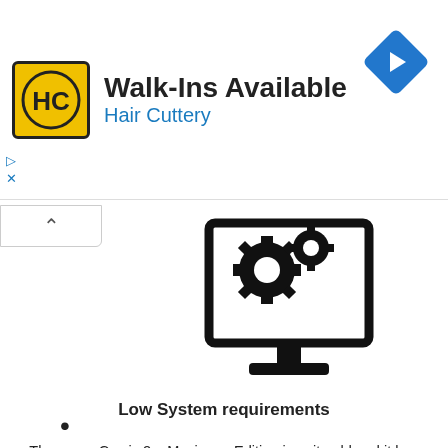[Figure (logo): Hair Cuttery advertisement banner with HC logo, Walk-Ins Available text, and a blue diamond navigation arrow icon]
[Figure (illustration): Black icon of a desktop computer monitor displaying two gear/cog icons]
•
Low System requirements
The game Crysis 2 – Maximum Edition is quite old and it has now become one of the games with very low system requirements. All the game needs to run is a PC running on 2 GB RAM and 9 GB of free space. The PC can run with a processor as low as Intel core 2 duo at 2 GHz.
Crysis 2 – Maximum Edition is a game that is targeted towards gamers who are into aliens. In the game, players will be